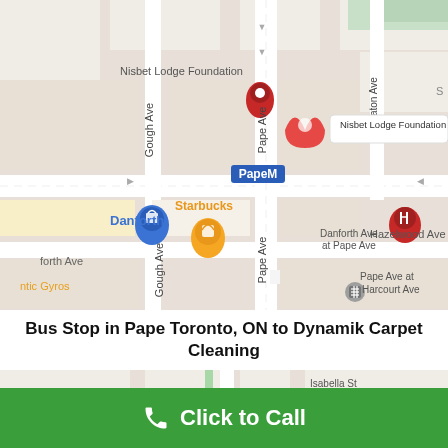[Figure (map): Google Maps screenshot showing Pape area in Toronto, ON with landmarks including Nisbet Lodge Foundation, Pape subway station, Starbucks, Shoppers Drug Mart, Danforth, Hazelwood Ave, Gough Ave, and Pape Ave.]
Bus Stop in Pape Toronto, ON to Dynamik Carpet Cleaning
[Figure (map): Google Maps screenshot showing a second map view with Isabella St, Storm Crow Manor, Glouc(ester), ceLife X Centre landmarks.]
Click to Call